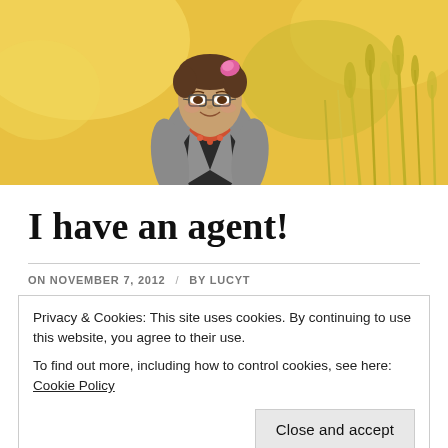[Figure (photo): A woman with glasses and a pink hair accessory, wearing a grey blazer and red/coral necklace, smiling outdoors in a golden field with tall grass. Warm sunlit background.]
I have an agent!
ON NOVEMBER 7, 2012 / BY LUCYT
Privacy & Cookies: This site uses cookies. By continuing to use this website, you agree to their use. To find out more, including how to control cookies, see here: Cookie Policy
Close and accept